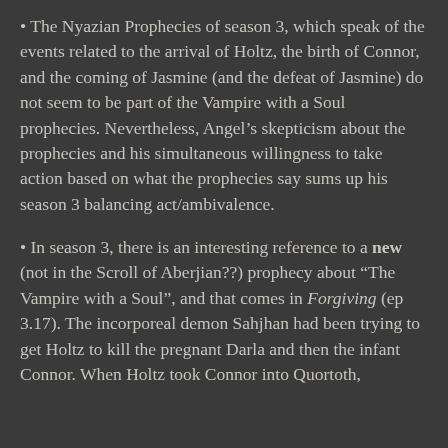The Nyazian Prophecies of season 3, which speak of the events related to the arrival of Holtz, the birth of Connor, and the coming of Jasmine (and the defeat of Jasmine) do not seem to be part of the Vampire with a Soul prophecies. Nevertheless, Angel's skepticism about the prophecies and his simultaneous willingness to take action based on what the prophecies say sums up his season 3 balancing act/ambivalence.
In season 3, there is an interesting reference to a new (not in the Scroll of Aberjian??) prophecy about "The Vampire with a Soul", and that comes in Forgiving (ep 3.17). The incorporeal demon Sahjhan had been trying to get Holtz to kill the pregnant Darla and then the infant Connor. When Holtz took Connor into Quortoth,